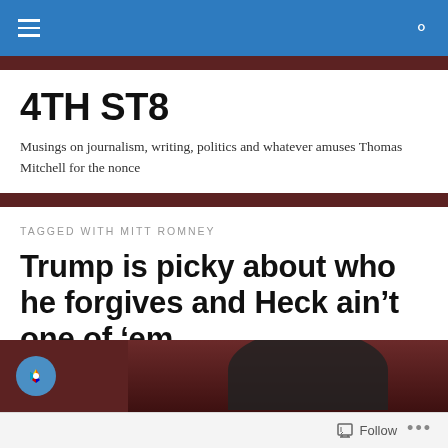4TH ST8 — navigation bar
4TH ST8
Musings on journalism, writing, politics and whatever amuses Thomas Mitchell for the nonce
TAGGED WITH MITT ROMNEY
Trump is picky about who he forgives and Heck ain't one of 'em
[Figure (photo): Partial image of a person with NBC logo visible, dark reddish-brown background]
Follow  •••